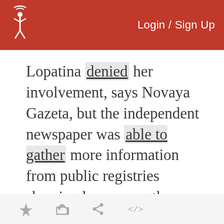Login / Sign Up
Lopatina denied her involvement, says Novaya Gazeta, but the independent newspaper was able to gather more information from public registries showing her among the company's founders.
-- Catherine A. Fitzpatrick